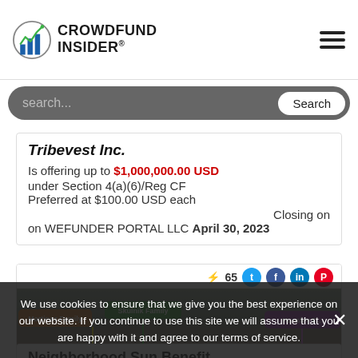[Figure (logo): Crowdfund Insider logo with bar chart icon and text 'CROWDFUND INSIDER']
search...
Tribevest Inc.
Is offering up to $1,000,000.00 USD
under Section 4(a)(6)/Reg CF Preferred at $100.00 USD each
Closing on
on WEFUNDER PORTAL LLC April 30, 2023
[Figure (screenshot): Tribevest investment platform screenshot showing family groups: Martinez Family (orange), Skulnik Family (green), Hansley F... (purple) in a stadium/arena setting]
Neighborhood Sun Benefit Corp
Is offering up to $1,000,000 USD
We use cookies to ensure that we give you the best experience on our website. If you continue to use this site we will assume that you are happy with it and agree to our terms of service.